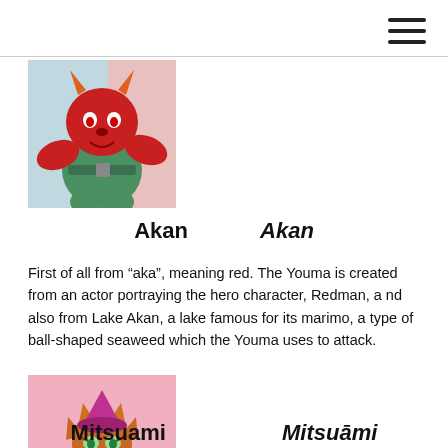[Figure (illustration): Anime/cartoon character - red monster/youma character, orange and red colored, from Sailor Moon]
Akan　　　 Akan
First of all from “aka”, meaning red. The Youma is created from an actor portraying the hero character, Redman, a nd also from Lake Akan, a lake famous for its marimo, a type of ball-shaped seaweed which the Youma uses to attack.
[Figure (illustration): Anime/cartoon character - second youma character, orange and purple/magenta colored, appears to be Mitsuami]
Mitsuami　　　　 Mitsuāmi